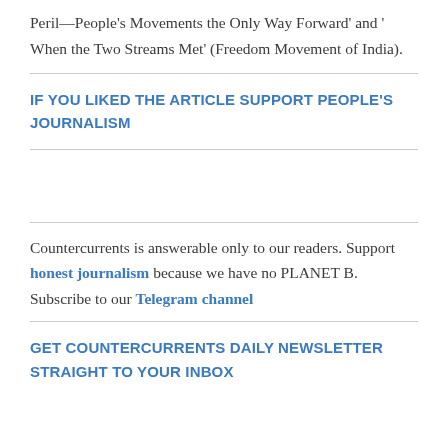Peril—People's Movements the Only Way Forward' and ' When the Two Streams Met' (Freedom Movement of India).
IF YOU LIKED THE ARTICLE SUPPORT PEOPLE'S JOURNALISM
Countercurrents is answerable only to our readers. Support honest journalism because we have no PLANET B. Subscribe to our Telegram channel
GET COUNTERCURRENTS DAILY NEWSLETTER STRAIGHT TO YOUR INBOX